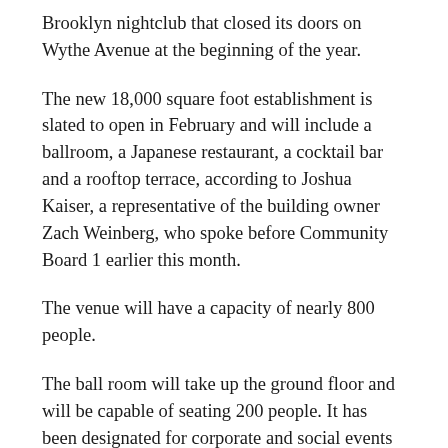Brooklyn nightclub that closed its doors on Wythe Avenue at the beginning of the year.
The new 18,000 square foot establishment is slated to open in February and will include a ballroom, a Japanese restaurant, a cocktail bar and a rooftop terrace, according to Joshua Kaiser, a representative of the building owner Zach Weinberg, who spoke before Community Board 1 earlier this month.
The venue will have a capacity of nearly 800 people.
The ball room will take up the ground floor and will be capable of seating 200 people. It has been designated for corporate and social events like weddings, Bat Mitzvahs and award ceremonies.
On the upper level, there will be a Japanese Izakaya